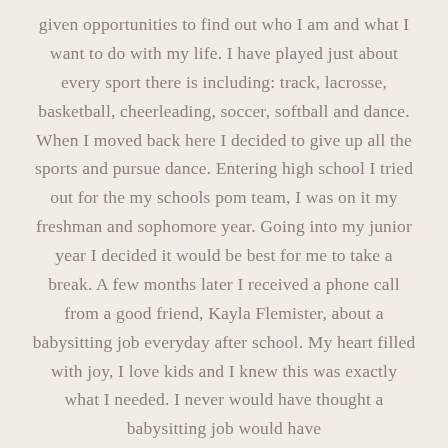given opportunities to find out who I am and what I want to do with my life. I have played just about every sport there is including: track, lacrosse, basketball, cheerleading, soccer, softball and dance. When I moved back here I decided to give up all the sports and pursue dance. Entering high school I tried out for the my schools pom team, I was on it my freshman and sophomore year. Going into my junior year I decided it would be best for me to take a break. A few months later I received a phone call from a good friend, Kayla Flemister, about a babysitting job everyday after school. My heart filled with joy, I love kids and I knew this was exactly what I needed. I never would have thought a babysitting job would have